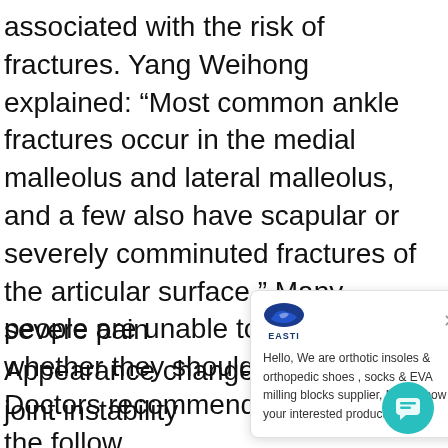associated with the risk of fractures. Yang Weihong explained: “Most common ankle fractures occur in the medial malleolus and lateral malleolus, and a few also have scapular or severely comminuted fractures of the articular surface.” Many people are unable to determine whether they should s Doctors recommend attention in the follow
severe pain
Appearance change
joint instability
[Figure (other): Chat popup overlay from EASTI brand showing a message: Hello, We are orthotic insoles & orthopedic shoes , socks & EVA milling blocks supplier, May I know your interested products? with a close X button and logo.]